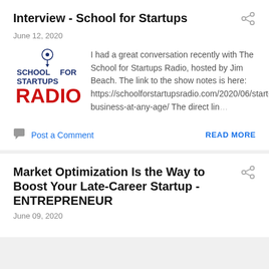Interview - School for Startups
June 12, 2020
[Figure (logo): School for Startups Radio logo with map pin icon, blue text and red RADIO text]
I had a great conversation recently with The School for Startups Radio, hosted by Jim Beach. The link to the show notes is here: https://schoolforstartupsradio.com/2020/06/start-business-at-any-age/ The direct lin...
Post a Comment
READ MORE
Market Optimization Is the Way to Boost Your Late-Career Startup - ENTREPRENEUR
June 09, 2020